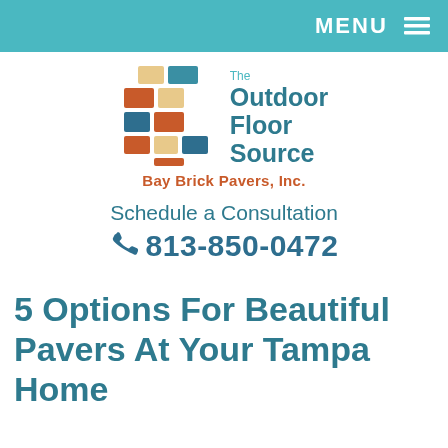MENU ☰
[Figure (logo): The Outdoor Floor Source logo with colorful brick tile mosaic graphic and text 'The Outdoor Floor Source' and 'Bay Brick Pavers, Inc.']
Schedule a Consultation
📞 813-850-0472
5 Options For Beautiful Pavers At Your Tampa Home